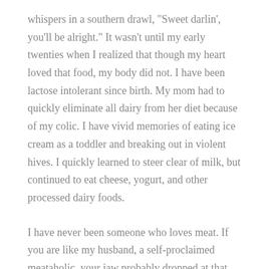whispers in a southern drawl, "Sweet darlin', you'll be alright." It wasn't until my early twenties when I realized that though my heart loved that food, my body did not. I have been lactose intolerant since birth. My mom had to quickly eliminate all dairy from her diet because of my colic. I have vivid memories of eating ice cream as a toddler and breaking out in violent hives. I quickly learned to steer clear of milk, but continued to eat cheese, yogurt, and other processed dairy foods.
I have never been someone who loves meat. If you are like my husband, a self-proclaimed meataholic, your jaw probably dropped at that statement. Though I grew up with barbecue meat, grilled meat, and deli meat, it never appealed to me. In fact, I've always loathed steak. So, at 20 years old, I decided to radically change my diet. I not only stopped consuming meat, but also rejected all animal products, becoming a complete vegan. My journey into...